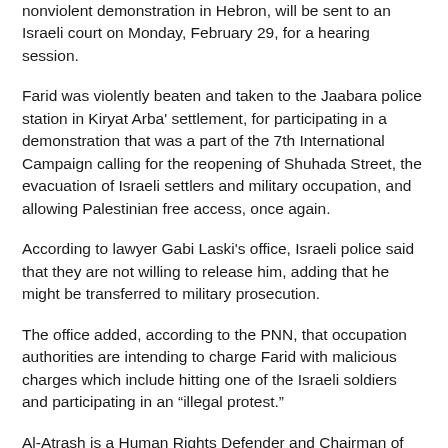nonviolent demonstration in Hebron, will be sent to an Israeli court on Monday, February 29, for a hearing session.
Farid was violently beaten and taken to the Jaabara police station in Kiryat Arba' settlement, for participating in a demonstration that was a part of the 7th International Campaign calling for the reopening of Shuhada Street, the evacuation of Israeli settlers and military occupation, and allowing Palestinian free access, once again.
According to lawyer Gabi Laski's office, Israeli police said that they are not willing to release him, adding that he might be transferred to military prosecution.
The office added, according to the PNN, that occupation authorities are intending to charge Farid with malicious charges which include hitting one of the Israeli soldiers and participating in an "illegal protest."
Al-Atrash is a Human Rights Defender and Chairman of the Independent Commission for Human Rights in Bethlehem.
Israeli law allows police to detain activists up to 96 hours, and so